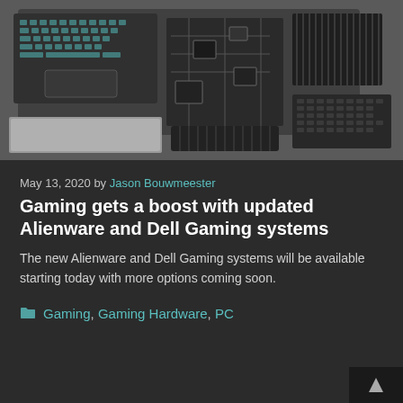[Figure (photo): Exploded view of a gaming laptop showing internal components including motherboard, keyboard, and chassis in black and silver tones]
May 13, 2020 by Jason Bouwmeester
Gaming gets a boost with updated Alienware and Dell Gaming systems
The new Alienware and Dell Gaming systems will be available starting today with more options coming soon.
Gaming, Gaming Hardware, PC